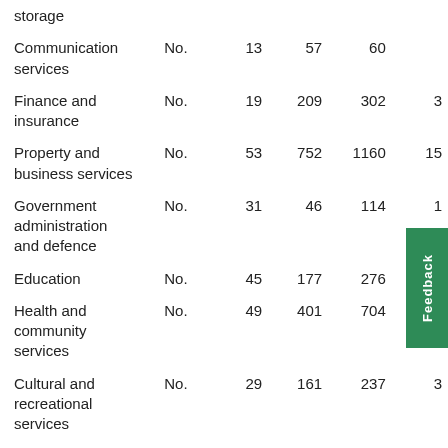| Industry | Unit | Col1 | Col2 | Col3 | Col4 |
| --- | --- | --- | --- | --- | --- |
| storage |  |  |  |  |  |
| Communication services | No. | 13 | 57 | 60 |  |
| Finance and insurance | No. | 19 | 209 | 302 | 3 |
| Property and business services | No. | 53 | 752 | 1160 | 15 |
| Government administration and defence | No. | 31 | 46 | 114 | 1 |
| Education | No. | 45 | 177 | 276 |  |
| Health and community services | No. | 49 | 401 | 704 |  |
| Cultural and recreational services | No. | 29 | 161 | 237 | 3 |
| Personal and other services | No. | 75 | 332 | 517 | 6 |
| Total | No. | 1494 | 8128 | 11059 | 148 |